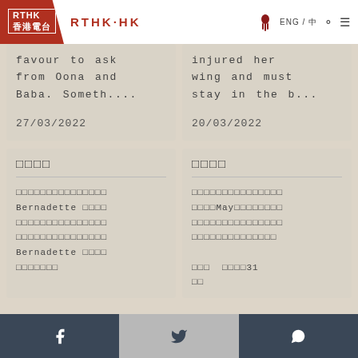RTHK·HK
favour to ask from Oona and Baba. Someth...
27/03/2022
injured her wing and must stay in the b...
20/03/2022
□□□□
□□□□□□□□□□□□□□□ Bernadette □□□□ □□□□□□□□□□□□□□□ □□□□□□□□□□□□□□□ Bernadette □□□□ □□□□□□□
□□□□
□□□□□□□□□□□□□□□ □□□□May□□□□□□□□ □□□□□□□□□□□□□□□ □□□□□□□□□□□□□□ □□□ □□□□31 □□
Facebook Twitter WhatsApp